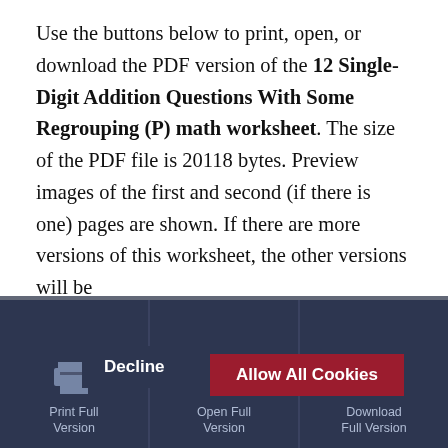Use the buttons below to print, open, or download the PDF version of the 12 Single-Digit Addition Questions With Some Regrouping (P) math worksheet. The size of the PDF file is 20118 bytes. Preview images of the first and second (if there is one) pages are shown. If there are more versions of this worksheet, the other versions will be available below the preview images. For more like this, use the search bar to look for some or all of these keywords: math, adding, single, digit, mental, facts, 81, 9, timed, fillable
Math-Drills uses cookies to track visitor behavior and serve ads. This revenue allows for the development and revision of math worksheets and other website features.
Privacy and Cookies Policy
Decline | Allow All Cookies
Print Full Version | Open Full Version | Download Full Version